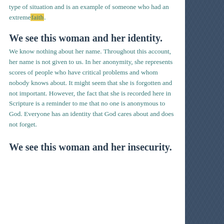is about a woman who encountered this type of situation and is an example of someone who had an extreme faith.
We see this woman and her identity.
We know nothing about her name. Throughout this account, her name is not given to us. In her anonymity, she represents scores of people who have critical problems and whom nobody knows about. It might seem that she is forgotten and not important. However, the fact that she is recorded here in Scripture is a reminder to me that no one is anonymous to God. Everyone has an identity that God cares about and does not forget.
We see this woman and her insecurity.